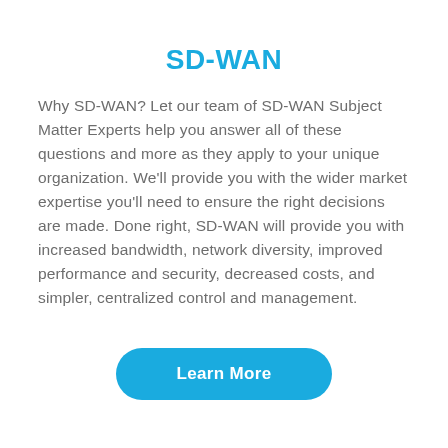SD-WAN
Why SD-WAN? Let our team of SD-WAN Subject Matter Experts help you answer all of these questions and more as they apply to your unique organization. We'll provide you with the wider market expertise you'll need to ensure the right decisions are made. Done right, SD-WAN will provide you with increased bandwidth, network diversity, improved performance and security, decreased costs, and simpler, centralized control and management.
Learn More